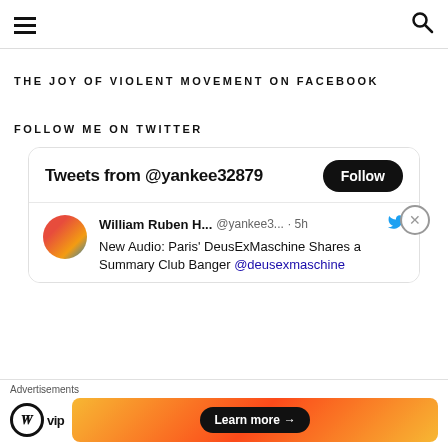☰ [menu] | [search icon]
THE JOY OF VIOLENT MOVEMENT ON FACEBOOK
FOLLOW ME ON TWITTER
[Figure (screenshot): Twitter widget showing 'Tweets from @yankee32879' with a Follow button and a tweet by William Ruben H... @yankee3... 5h: New Audio: Paris' DeusExMaschine Shares a Summary Club Banger @deusexmaschine]
[Figure (other): Advertisement bar: WordPress VIP logo and a colorful banner with 'Learn more →' button. Label 'Advertisements' at top.]